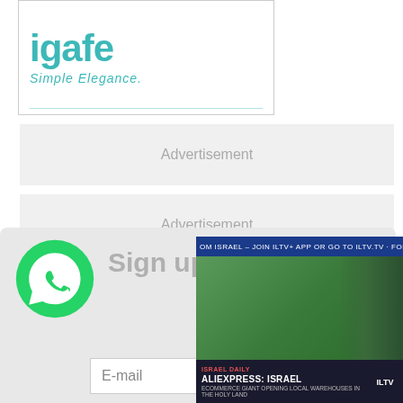[Figure (logo): igafe Simple Elegance logo in teal color, partially cropped]
Advertisement
Advertisement
Advertisement
Advertisement
[Figure (infographic): WhatsApp signup bar with green WhatsApp icon, Sign up now text, and E-mail input field]
[Figure (screenshot): ILTV video overlay with news ticker: OM ISRAEL - JOIN ILTV+ APP OR GO TO ILTV.TV - FOR MORE NEWS AND CO, video thumbnail of person with plants, and lower bar: ISRAEL DAILY / ALIEXPRESS: ISRAEL / ECOMMERCE GIANT OPENING LOCAL WAREHOUSES IN THE HOLY LAND]